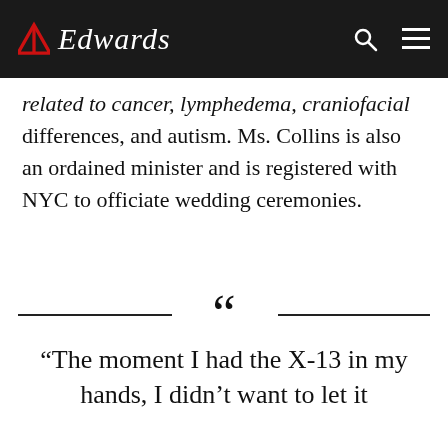Edwards
related to cancer, lymphedema, craniofacial differences, and autism. Ms. Collins is also an ordained minister and is registered with NYC to officiate wedding ceremonies.
“The moment I had the X-13 in my hands, I didn’t want to let it